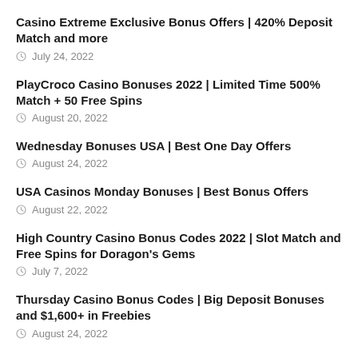Casino Extreme Exclusive Bonus Offers | 420% Deposit Match and more
July 24, 2022
PlayCroco Casino Bonuses 2022 | Limited Time 500% Match + 50 Free Spins
August 20, 2022
Wednesday Bonuses USA | Best One Day Offers
August 24, 2022
USA Casinos Monday Bonuses | Best Bonus Offers
August 22, 2022
High Country Casino Bonus Codes 2022 | Slot Match and Free Spins for Doragon's Gems
July 7, 2022
Thursday Casino Bonus Codes | Big Deposit Bonuses and $1,600+ in Freebies
August 24, 2022